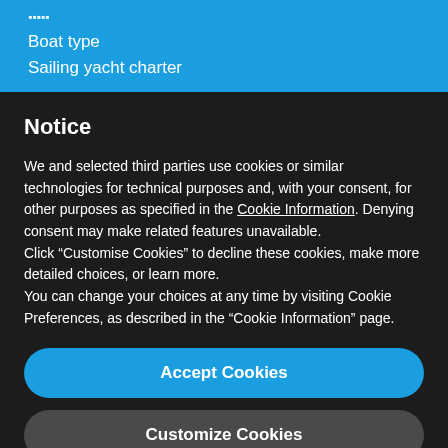Boat type
Sailing yacht charter
Notice
We and selected third parties use cookies or similar technologies for technical purposes and, with your consent, for other purposes as specified in the Cookie Information. Denying consent may make related features unavailable.
Click “Customise Cookies” to decline these cookies, make more detailed choices, or learn more.
You can change your choices at any time by visiting Cookie Preferences, as described in the “Cookie Information” page.
Accept Cookies
Customize Cookies